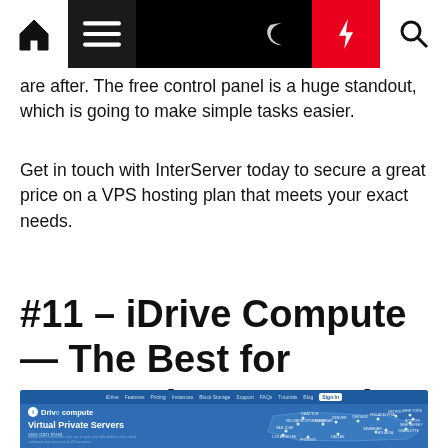[Navigation bar with home, menu, dark mode, trending, search icons]
are after. The free control panel is a huge standout, which is going to make simple tasks easier.
Get in touch with InterServer today to secure a great price on a VPS hosting plan that meets your exact needs.
#11 – iDrive Compute — The Best for Supporting Networks of Smart Devices
[Figure (screenshot): Screenshot of iDrive Compute website showing navigation bar, logo, 'Virtual Private Servers you can trust' headline, and a map of US server locations]